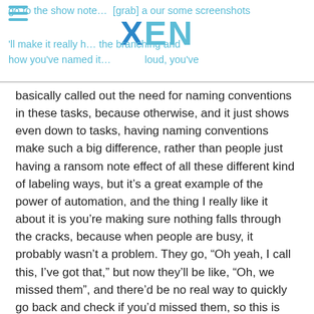go to the show note... [grab] a our some screenshots 'll make it really h... the branching and how you've named it... loud, you've basically called out the need for naming conventions in these tasks, because otherwise, and it just shows even down to tasks, having naming conventions make such a big difference
basically called out the need for naming conventions in these tasks, because otherwise, and it just shows even down to tasks, having naming conventions make such a big difference, rather than people just having a ransom note effect of all these different kind of labeling ways, but it's a great example of the power of automation, and the thing I really like it about it is you're making sure nothing falls through the cracks, because when people are busy, it probably wasn't a problem. They go, “Oh yeah, I call this, I've got that,” but now they'll be like, “Oh, we missed them”, and there'd be no real way to quickly go back and check if you'd missed them, so this is just a classic example of the power of automation and it's saving time of course but reducing errors.
– That’s right. All right onto our HubSpot Extra of the Week, Craig? And this is about editing columns on a